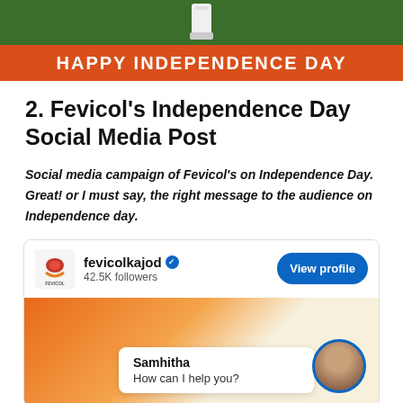[Figure (photo): Top portion of a Fevicol Independence Day advertisement with green and orange background and 'HAPPY INDEPENDENCE DAY' banner text]
2. Fevicol's Independence Day Social Media Post
Social media campaign of Fevicol's on Independence Day. Great! or I must say, the right message to the audience on Independence day.
[Figure (screenshot): LinkedIn social media card for fevicolkajod with 42.5K followers, View profile button, and a chat screenshot showing 'Samhitha: How can I help you?']